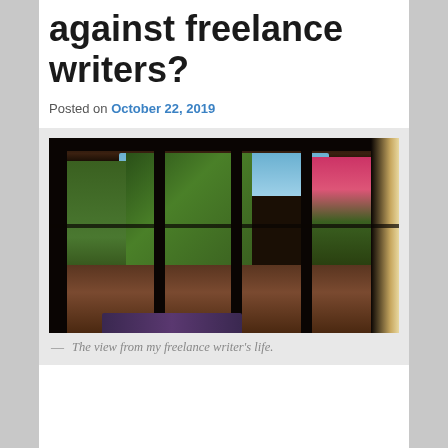against freelance writers?
Posted on October 22, 2019
[Figure (photo): Interior view looking out through large French doors with dark wooden frames and mullions, showing a garden with green foliage, mountains in the background, and bright pink flowering bougainvillea on the right side. Terracotta tile floor visible in the foreground with a patterned rug.]
— The view from my freelance writer's life.